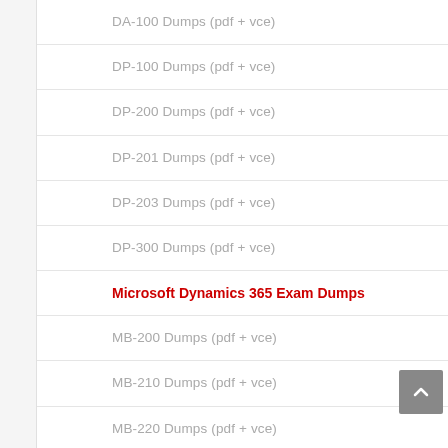DA-100 Dumps (pdf + vce)
DP-100 Dumps (pdf + vce)
DP-200 Dumps (pdf + vce)
DP-201 Dumps (pdf + vce)
DP-203 Dumps (pdf + vce)
DP-300 Dumps (pdf + vce)
Microsoft Dynamics 365 Exam Dumps
MB-200 Dumps (pdf + vce)
MB-210 Dumps (pdf + vce)
MB-220 Dumps (pdf + vce)
MB-230 Dumps (pdf + vce)
MB-240 Dumps (pdf + vce)